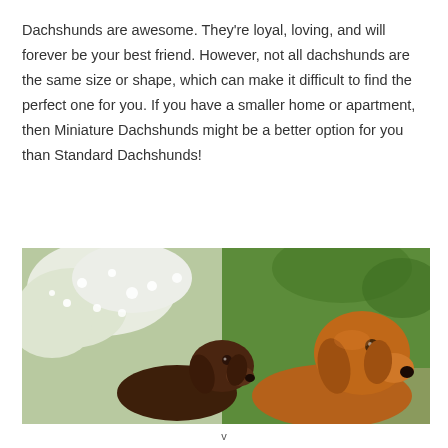Dachshunds are awesome. They're loyal, loving, and will forever be your best friend. However, not all dachshunds are the same size or shape, which can make it difficult to find the perfect one for you. If you have a smaller home or apartment, then Miniature Dachshunds might be a better option for you than Standard Dachshunds!
[Figure (photo): Two dachshunds photographed outdoors. On the left is a smaller chocolate/dark brown dachshund near white flowering branches. On the right is a larger tan/red dachshund looking upward against a green garden background.]
v